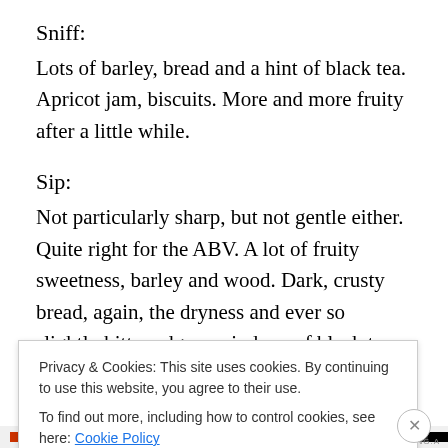Sniff:
Lots of barley, bread and a hint of black tea. Apricot jam, biscuits. More and more fruity after a little while.
Sip:
Not particularly sharp, but not gentle either. Quite right for the ABV. A lot of fruity sweetness, barley and wood. Dark, crusty bread, again, the dryness and ever so slightly bitter edge remind me of black tea, or Earl Gray, maybe.
Swallow:
The finish is not dissimilar, but more towards a more
Privacy & Cookies: This site uses cookies. By continuing to use this website, you agree to their use.
To find out more, including how to control cookies, see here: Cookie Policy
Close and accept
DUPRINCTING.A